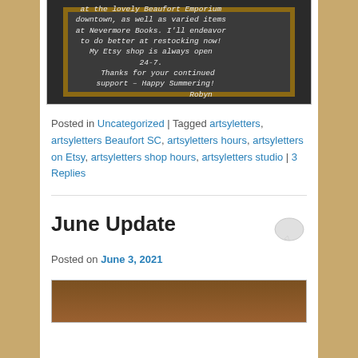[Figure (photo): Photo of a chalkboard with handwritten text reading: 'at the lovely Beaufort Emporium downtown, as well as varied items at Nevermore Books. I'll endeavor to do better at restocking now! My Etsy shop is always open 24-7. Thanks for your continued support – Happy Summering! Robyn']
Posted in Uncategorized | Tagged artsyletters, artsyletters Beaufort SC, artsyletters hours, artsyletters on Etsy, artsyletters shop hours, artsyletters studio | 3 Replies
June Update
Posted on June 3, 2021
[Figure (photo): Partial bottom image, appears to be a photo, mostly cut off at page bottom]